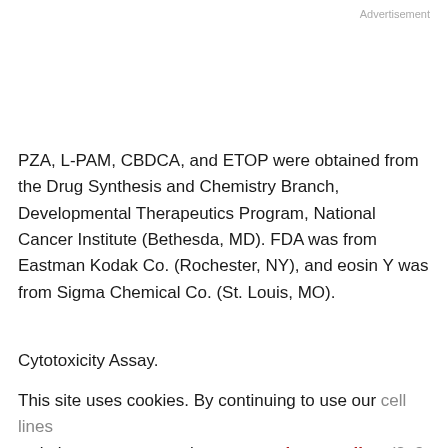Advertisement
PZA, L-PAM, CBDCA, and ETOP were obtained from the Drug Synthesis and Chemistry Branch, Developmental Therapeutics Program, National Cancer Institute (Bethesda, MD). FDA was from Eastman Kodak Co. (Rochester, NY), and eosin Y was from Sigma Chemical Co. (St. Louis, MO).
Cytotoxicity Assay.
This site uses cookies. By continuing to use our cell lines website, you are agreeing to our privacy policy. (2, 3, Accept 22, 32). DIMSCAN uses digital imaging microscopy to